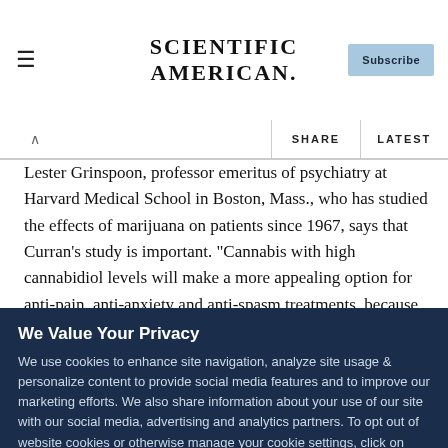SCIENTIFIC AMERICAN
Lester Grinspoon, professor emeritus of psychiatry at Harvard Medical School in Boston, Mass., who has studied the effects of marijuana on patients since 1967, says that Curran's study is important. "Cannabis with high cannabidiol levels will make a more appealing option for anti-pain, anti-anxiety and anti-spasm treatments, because they can be delivered without causing disconcerting euphoria," he says.
READ THIS NEXT
We Value Your Privacy
We use cookies to enhance site navigation, analyze site usage & personalize content to provide social media features and to improve our marketing efforts. We also share information about your use of our site with our social media, advertising and analytics partners. To opt out of website cookies or otherwise manage your cookie settings, click on Cookie Settings. View O...